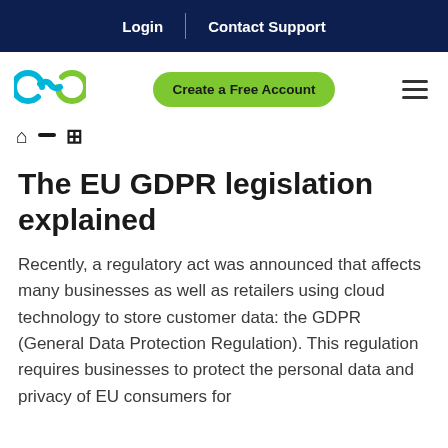Login | Contact Support
[Figure (logo): Cyan infinity/chain-link style logo mark]
Create a Free Account
≡
⌂ — (breadcrumb navigation icons)
The EU GDPR legislation explained
Recently, a regulatory act was announced that affects many businesses as well as retailers using cloud technology to store customer data: the GDPR (General Data Protection Regulation). This regulation requires businesses to protect the personal data and privacy of EU consumers for